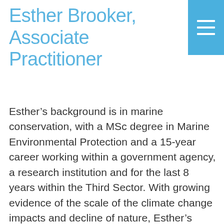Esther Brooker, Associate Practitioner
Esther’s background is in marine conservation, with a MSc degree in Marine Environmental Protection and a 15-year career working within a government agency, a research institution and for the last 8 years within the Third Sector. With growing evidence of the scale of the climate change impacts and decline of nature, Esther’s work is increasingly focusing on the intersection of social science and